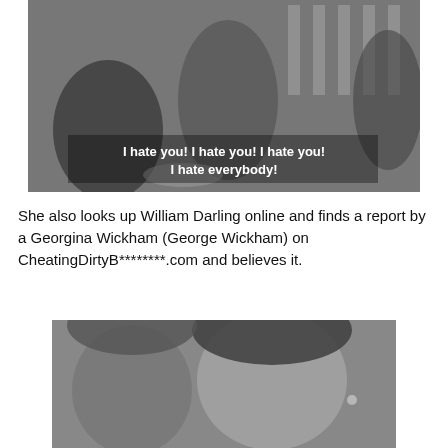[Figure (photo): Black and white photo of a person sitting and being attended to, with subtitle text overlaid: 'I hate you! I hate you! I hate you! I hate everybody!']
She also looks up William Darling online and finds a report by a Georgina Wickham (George Wickham) on CheatingDirtyB********.com and believes it.
[Figure (photo): Black and white close-up photo of a woman smiling, with another person partially visible beside her.]